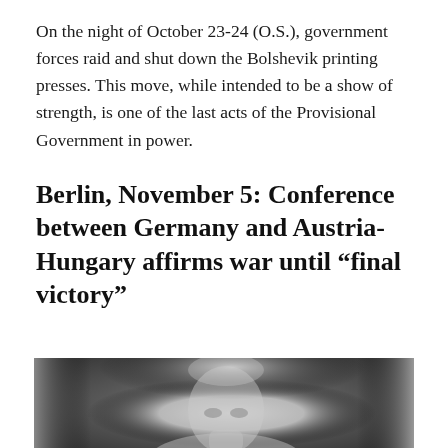On the night of October 23-24 (O.S.), government forces raid and shut down the Bolshevik printing presses. This move, while intended to be a show of strength, is one of the last acts of the Provisional Government in power.
Berlin, November 5: Conference between Germany and Austria-Hungary affirms war until “final victory”
[Figure (photo): Black and white portrait photograph of a man, shown from the shoulders up, with light-colored hair, against a dark background.]